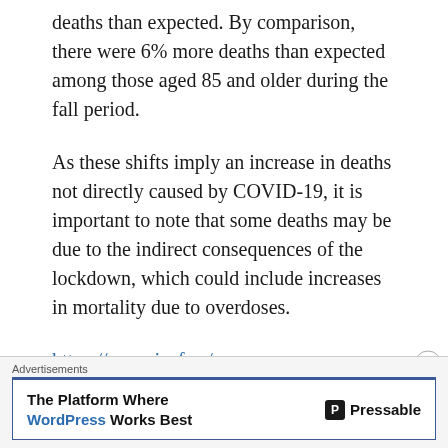deaths than expected. By comparison, there were 6% more deaths than expected among those aged 85 and older during the fall period.
As these shifts imply an increase in deaths not directly caused by COVID-19, it is important to note that some deaths may be due to the indirect consequences of the lockdown, which could include increases in mortality due to overdoses.
https://www.jccf.ca/wp-content/uploads/2020/12/2020-12-03-Flying-
Advertisements
The Platform Where WordPress Works Best | Pressable